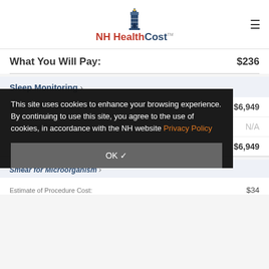[Figure (logo): NH HealthCost lighthouse logo with text]
What You Will Pay: $236
Sleep Monitoring ›
Estimate of Procedure Cost: $6,949
Insurance Paid: N/A
What You Will Pay: $6,949
Smear for Microorganism ›
Estimate of Procedure Cost: $34
This site uses cookies to enhance your browsing experience. By continuing to use this site, you agree to the use of cookies, in accordance with the NH website Privacy Policy